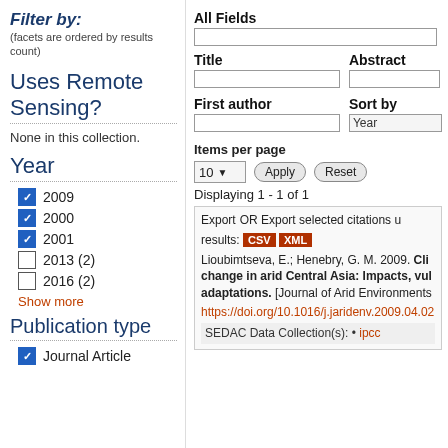Filter by:
(facets are ordered by results count)
Uses Remote Sensing?
None in this collection.
Year
2009 [checked]
2000 [checked]
2001 [checked]
2013 (2) [unchecked]
2016 (2) [unchecked]
Show more
Publication type
Journal Article [checked]
All Fields
Title
Abstract
First author
Sort by
Year
Items per page
10
Apply
Reset
Displaying 1 - 1 of 1
Export   OR Export selected citations u results: CSV XML Lioubimtseva, E.; Henebry, G. M. 2009. Climate change in arid Central Asia: Impacts, vulnerabilities, and adaptations. [Journal of Arid Environments https://doi.org/10.1016/j.jaridenv.2009.04.02 SEDAC Data Collection(s): • ipcc